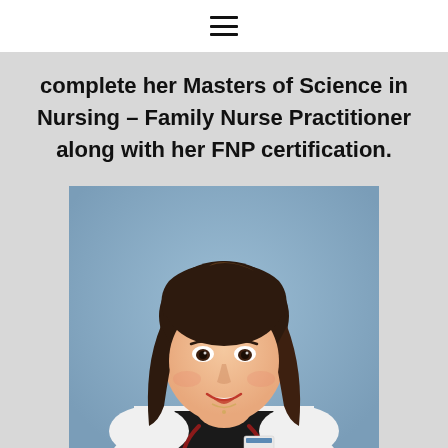[hamburger menu icon]
complete her Masters of Science in Nursing – Family Nurse Practitioner along with her FNP certification.
[Figure (photo): Professional headshot of a female nurse practitioner wearing a white lab coat and red stethoscope, smiling, with a blue-grey background.]